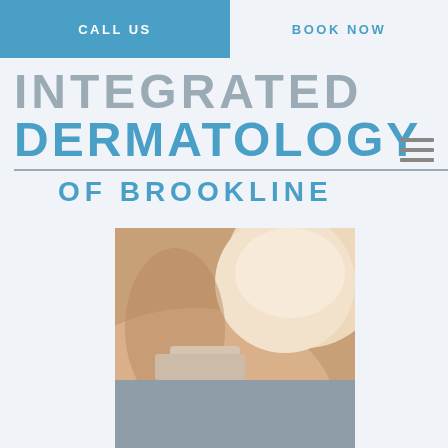CALL US
BOOK NOW
INTEGRATED DERMATOLOGY OF BROOKLINE
[Figure (photo): Close-up photo of a person's shoulder and neck area showing skin texture]
Mohs and Excision Surgery
more info